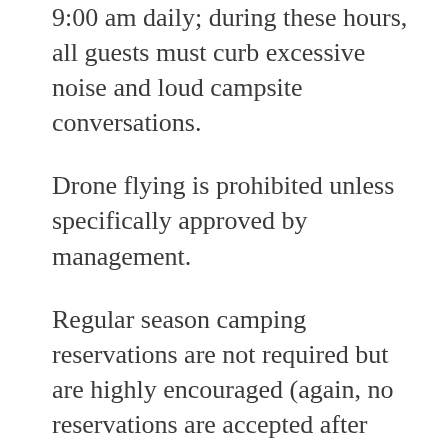9:00 am daily; during these hours, all guests must curb excessive noise and loud campsite conversations.
Drone flying is prohibited unless specifically approved by management.
Regular season camping reservations are not required but are highly encouraged (again, no reservations are accepted after Labor Day).  We will begin taking regular season camping reservations for the 2022 season on Monday, April 4, 2022. When arriving during operating hours of our regular season, stop in at the gift shop to